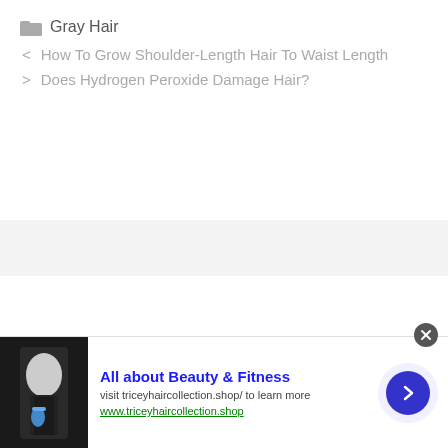Gray Hair
How To Grow Shoulder-Length Hair To Waist Length
Does Hydrogen Peroxide Damage Hair?
[Figure (infographic): Advertisement banner for 'All about Beauty & Fitness' for triceyhaircollection.shop with a photo of a woman holding a blue water bottle, a call-to-action button, and a close button.]